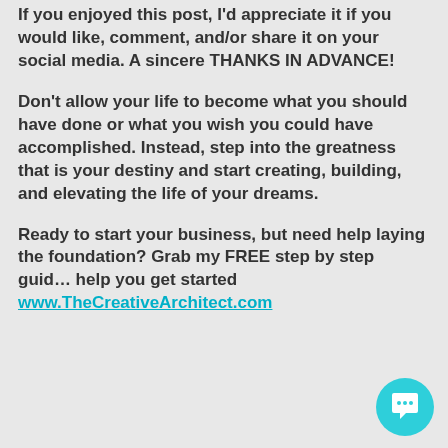If you enjoyed this post, I'd appreciate it if you would like, comment, and/or share it on your social media. A sincere THANKS IN ADVANCE!
Don't allow your life to become what you should have done or what you wish you could have accomplished. Instead, step into the greatness that is your destiny and start creating, building, and elevating the life of your dreams.
Ready to start your business, but need help laying the foundation? Grab my FREE step by step guide help you get started www.TheCreativeArchitect.com